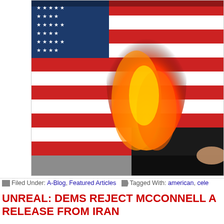[Figure (photo): Burning American flag, partially cropped, with people visible in background. Red, white stripes and flames visible.]
Filed Under: A-Blog, Featured Articles  Tagged With: american, cele
UNREAL: DEMS REJECT MCCONNELL A... RELEASE FROM IRAN
September 18, 2015 by Cortney O'Brien
[Figure (photo): Photo of Mitch McConnell speaking, partial view, with blurred background featuring a building or monument.]